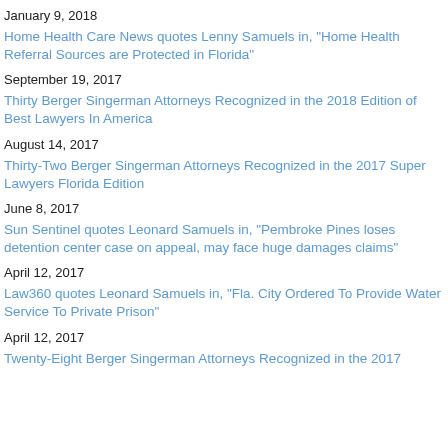January 9, 2018
Home Health Care News quotes Lenny Samuels in, "Home Health Referral Sources are Protected in Florida"
September 19, 2017
Thirty Berger Singerman Attorneys Recognized in the 2018 Edition of Best Lawyers In America
August 14, 2017
Thirty-Two Berger Singerman Attorneys Recognized in the 2017 Super Lawyers Florida Edition
June 8, 2017
Sun Sentinel quotes Leonard Samuels in, "Pembroke Pines loses detention center case on appeal, may face huge damages claims"
April 12, 2017
Law360 quotes Leonard Samuels in, "Fla. City Ordered To Provide Water Service To Private Prison"
April 12, 2017
Twenty-Eight Berger Singerman Attorneys Recognized in the 2017